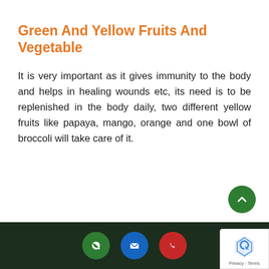Green And Yellow Fruits And Vegetable
It is very important as it gives immunity to the body and helps in healing wounds etc, its need is to be replenished in the body daily, two different yellow fruits like papaya, mango, orange and one bowl of broccoli will take care of it.
[Figure (other): Green circular back-to-top button with upward chevron arrow]
Footer bar with WhatsApp (green), email (blue), and phone (red) contact buttons, plus reCAPTCHA badge with Privacy and Terms links